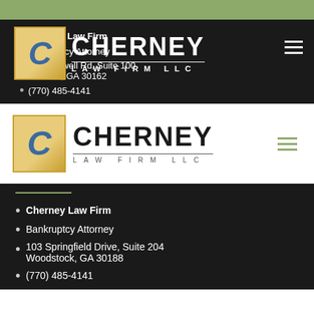[Figure (screenshot): Green header bar at top of page]
Cherney Law Firm
Bankruptcy Attorney
441 Roswell Rd, Suite 100 Marietta, GA 30162
(770) 485-4141
[Figure (logo): Cherney Law Firm LLC logo on white background with hamburger menu icon]
Cherney Law Firm
Bankruptcy Attorney
103 Springfield Drive, Suite 204 Woodstock, GA 30188
(770) 485-4141